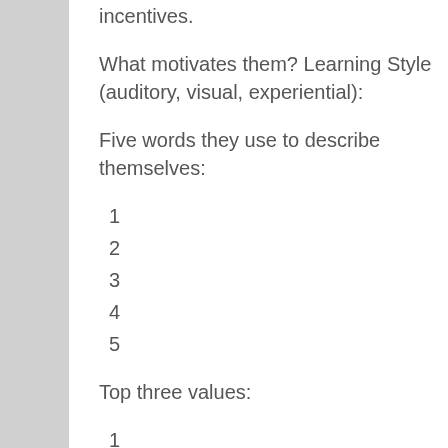incentives.
What motivates them? Learning Style (auditory, visual, experiential):
Five words they use to describe themselves:
1
2
3
4
5
Top three values:
1
2
3
Role Models: